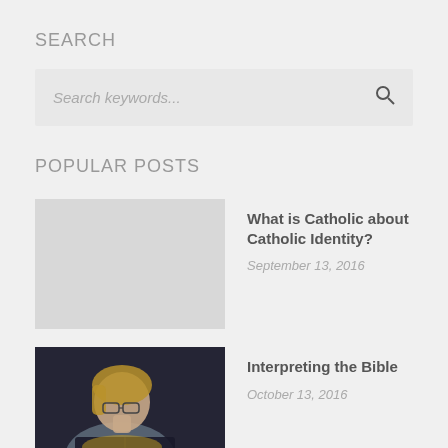SEARCH
Search keywords...
POPULAR POSTS
What is Catholic about Catholic Identity?
September 13, 2016
[Figure (photo): Woman with glasses reading a book]
Interpreting the Bible
October 13, 2016